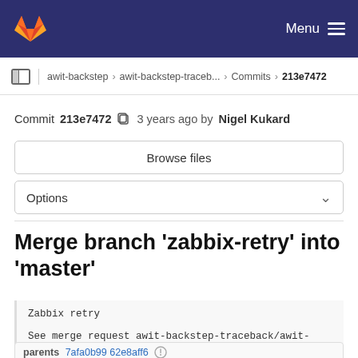GitLab navigation — Menu
awit-backstep › awit-backstep-traceb... › Commits › 213e7472
Commit 213e7472  3 years ago by Nigel Kukard
Browse files
Options
Merge branch 'zabbix-retry' into 'master'
Zabbix retry

See merge request awit-backstep-traceback/awit-backs
parents 7afa0b99 62e8aff6